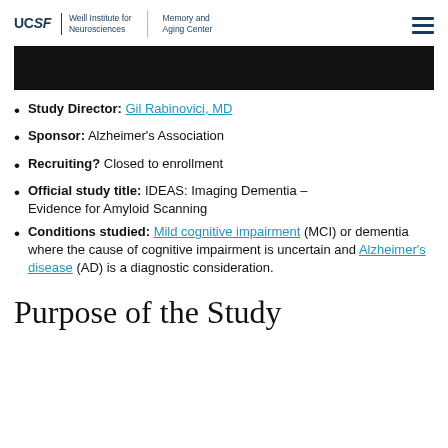UCSF Weill Institute for Neurosciences | Memory and Aging Center
[Figure (other): Black banner/hero image bar]
Study Director: Gil Rabinovici, MD
Sponsor: Alzheimer's Association
Recruiting? Closed to enrollment
Official study title: IDEAS: Imaging Dementia – Evidence for Amyloid Scanning
Conditions studied: Mild cognitive impairment (MCI) or dementia where the cause of cognitive impairment is uncertain and Alzheimer's disease (AD) is a diagnostic consideration.
Purpose of the Study